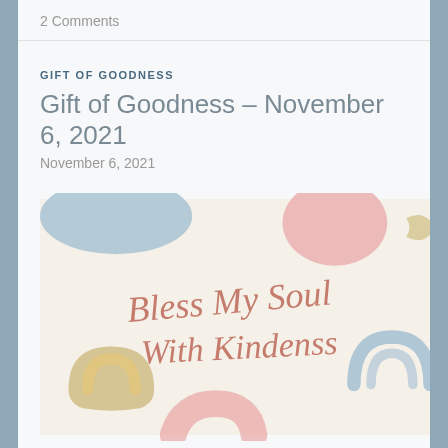2 Comments
GIFT OF GOODNESS
Gift of Goodness – November 6, 2021
November 6, 2021
[Figure (illustration): Decorative image with colorful abstract shapes (blue blobs, pink hearts, gold arcs, rainbow arcs) on a cream/off-white background, featuring cursive script text reading 'Bless My Soul With Kindenss' in dusty rose/terracotta color]